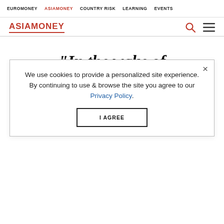EUROMONEY  ASIAMONEY  COUNTRY RISK  LEARNING  EVENTS
ASIAMONEY
"In the wake of Kamath's exit, ICICI made one strategic blunder after another"
We use cookies to provide a personalized site experience.
By continuing to use & browse the site you agree to our Privacy Policy.
I AGREE